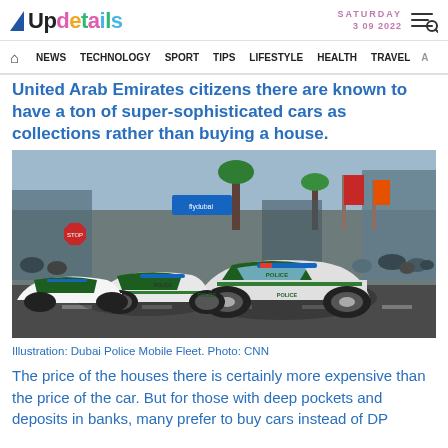Updetails — SATURDAY 3 09 2022
NEWS  TECHNOLOGY  SPORT  TIPS  LIFESTYLE  HEALTH  TRAVEL  A...
United Arab Emirates citizens there are known to have a ton of super-sophisticated cars as collections rather than buying a house.
[Figure (photo): Dubai Police Mobile Fleet — several luxury police cars including a Bugatti Veyron in white and green livery driving on a street in Dubai, crowds visible in background]
Illustration: Dubai Police Mobile Fleet. Photo: CNN
The price of the houses there is certainly more expensive than the price of the car. But for those with deep pockets and deposits in banks, many prefer to buy cars instead of DP